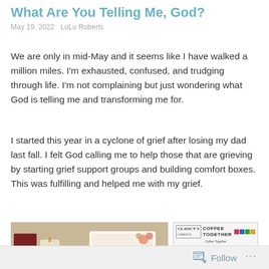What Are You Telling Me, God?
May 19, 2022   LoLo Roberts
We are only in mid-May and it seems like I have walked a million miles. I'm exhausted, confused, and trudging through life. I'm not complaining but just wondering what God is telling me and transforming me for.
I started this year in a cyclone of grief after losing my dad last fall. I felt God calling me to help those that are grieving by starting grief support groups and building comfort boxes. This was fulfilling and helped me with my grief.
[Figure (photo): Photo of comfort box items including a book, candle, and card with 'With Thinking Thought' text and floral decoration, alongside a Clancy's Coffee Together Texas flyer]
Follow